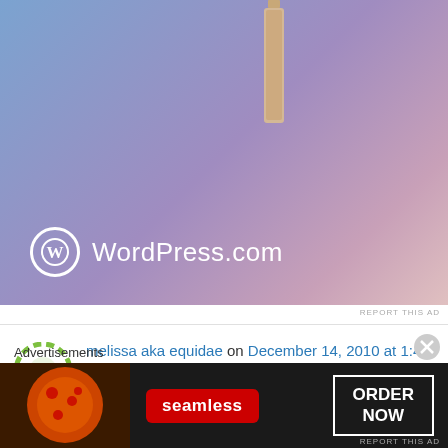[Figure (screenshot): WordPress.com advertisement with blue-purple-pink gradient background, a tan/beige candle object at top right, and the WordPress logo (circle W) with 'WordPress.com' text in white at bottom left]
REPORT THIS AD
melissa aka equidae on December 14, 2010 at 1:46 pm
wow love you traditions. We dont get much traditions like this in Malta or anyway not in my house. Actually I have started to try and do some nice traditions like baking cookies all day long LOL happy SITS day loved your site
Advertisements
[Figure (screenshot): Seamless food delivery advertisement with pizza image on left, red Seamless badge in center, and 'ORDER NOW' button on right, dark background]